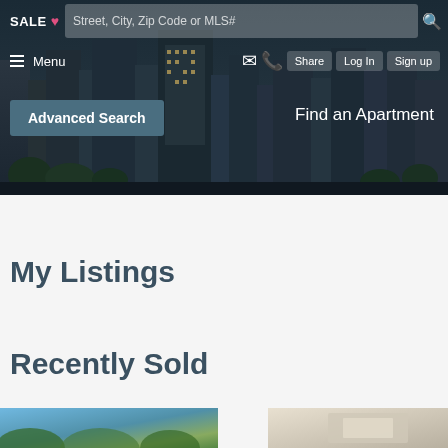[Figure (screenshot): Real estate website hero section with dark overlay on city skyline background, showing navigation bar with SALE tab, search bar, menu, share, log in, sign up buttons, Advanced Search button, and Find an Apartment link]
My Listings
Recently Sold
[Figure (photo): Partial thumbnail of property listing photo showing sky and greenery]
[Figure (photo): Partial thumbnail of property listing photo showing light-colored structure]